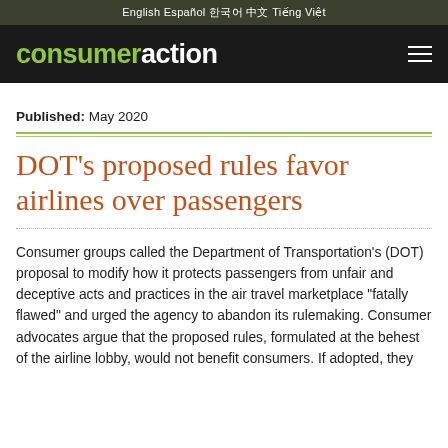English   Español   한국어   中文   Tiếng Việt
consumeraction
Published: May 2020
DOT's proposed rules favor airlines over passengers
Consumer groups called the Department of Transportation's (DOT) proposal to modify how it protects passengers from unfair and deceptive acts and practices in the air travel marketplace "fatally flawed" and urged the agency to abandon its rulemaking. Consumer advocates argue that the proposed rules, formulated at the behest of the airline lobby, would not benefit consumers. If adopted, they